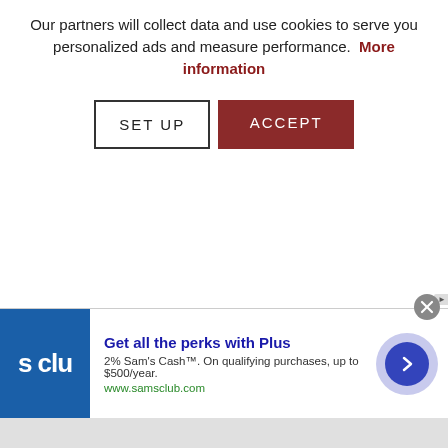Our partners will collect data and use cookies to serve you personalized ads and measure performance.  More information
[Figure (screenshot): Two buttons: 'SET UP' (outlined, white background) and 'ACCEPT' (dark red background, white text)]
[Figure (screenshot): Advertisement banner for Sam's Club Plus membership. Blue logo with 's clu' text, title 'Get all the perks with Plus', description '2% Sam's Cash™. On qualifying purchases, up to $500/year.', URL 'www.samsclub.com', and a blue arrow button on the right.]